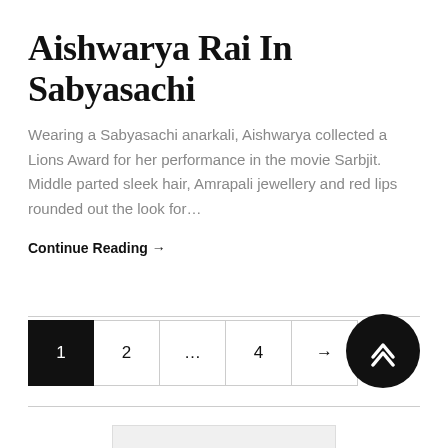Aishwarya Rai In Sabyasachi
Wearing a Sabyasachi anarkali, Aishwarya collected a Lions Award for her performance in the movie Sarbjit. Middle parted sleek hair, Amrapali jewellery and red lips rounded out the look for…
Continue Reading →
1 2 … 4 →